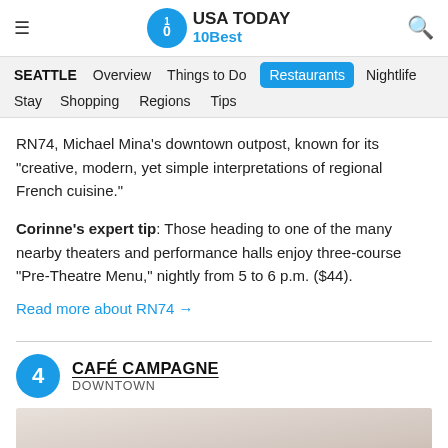USA TODAY 10Best — Seattle navigation: SEATTLE | Overview | Things to Do | Restaurants | Nightlife | Stay | Shopping | Regions | Tips
RN74, Michael Mina's downtown outpost, known for its "creative, modern, yet simple interpretations of regional French cuisine."
Corinne's expert tip: Those heading to one of the many nearby theaters and performance halls enjoy three-course "Pre-Theatre Menu," nightly from 5 to 6 p.m. ($44).
Read more about RN74 →
4 CAFÉ CAMPAGNE DOWNTOWN
[Figure (photo): Bottom portion of a plate or dish, light beige/pink tones, cropped at bottom of page]